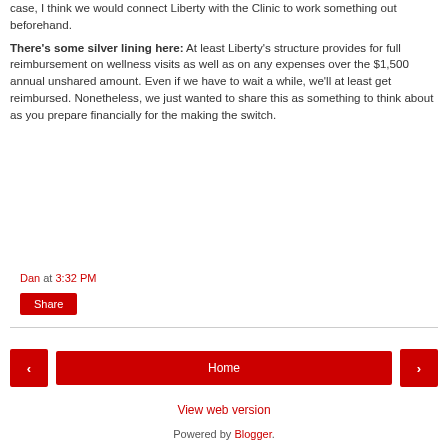case, I think we would connect Liberty with the Clinic to work something out beforehand.
There's some silver lining here: At least Liberty's structure provides for full reimbursement on wellness visits as well as on any expenses over the $1,500 annual unshared amount. Even if we have to wait a while, we'll at least get reimbursed. Nonetheless, we just wanted to share this as something to think about as you prepare financially for the making the switch.
Dan at 3:32 PM
Share
Home
View web version
Powered by Blogger.